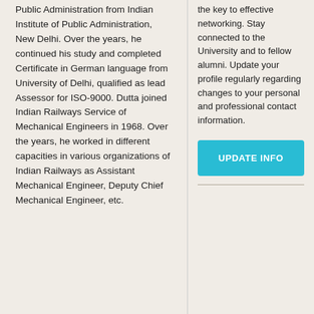Public Administration from Indian Institute of Public Administration, New Delhi. Over the years, he continued his study and completed Certificate in German language from University of Delhi, qualified as lead Assessor for ISO-9000. Dutta joined Indian Railways Service of Mechanical Engineers in 1968. Over the years, he worked in different capacities in various organizations of Indian Railways as Assistant Mechanical Engineer, Deputy Chief Mechanical Engineer, etc.
the key to effective networking. Stay connected to the University and to fellow alumni. Update your profile regularly regarding changes to your personal and professional contact information.
[Figure (other): UPDATE INFO button — a cyan/teal rectangular button with white bold uppercase text reading UPDATE INFO]